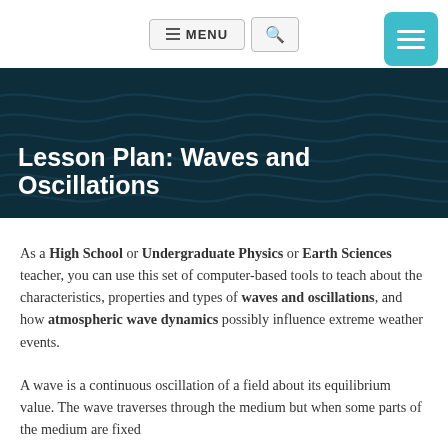MENU
Lesson Plan: Waves and Oscillations
As a High School or Undergraduate Physics or Earth Sciences teacher, you can use this set of computer-based tools to teach about the characteristics, properties and types of waves and oscillations, and how atmospheric wave dynamics possibly influence extreme weather events.
A wave is a continuous oscillation of a field about its equilibrium value. The wave traverses through the medium but when some parts of the medium are fixed